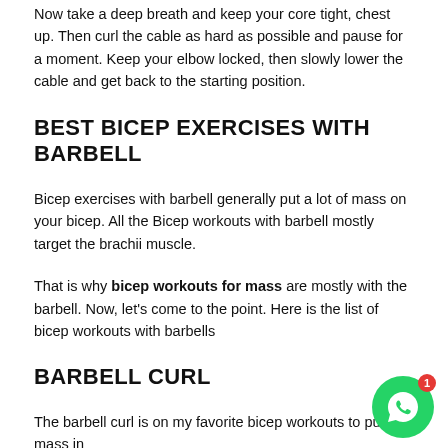Now take a deep breath and keep your core tight, chest up. Then curl the cable as hard as possible and pause for a moment. Keep your elbow locked, then slowly lower the cable and get back to the starting position.
BEST BICEP EXERCISES WITH BARBELL
Bicep exercises with barbell generally put a lot of mass on your bicep. All the Bicep workouts with barbell mostly target the brachii muscle.
That is why bicep workouts for mass are mostly with the barbell. Now, let's come to the point. Here is the list of bicep workouts with barbells
BARBELL CURL
The barbell curl is on my favorite bicep workouts to put on mass in